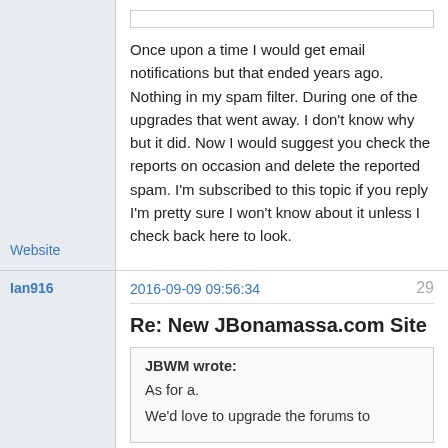Once upon a time I would get email notifications but that ended years ago. Nothing in my spam filter. During one of the upgrades that went away. I don't know why but it did. Now I would suggest you check the reports on occasion and delete the reported spam. I'm subscribed to this topic if you reply I'm pretty sure I won't know about it unless I check back here to look.
Website
Ian916
2016-09-09 09:56:34
29
Re: New JBonamassa.com Site
JBWM wrote:
As for a.
We'd love to upgrade the forums to